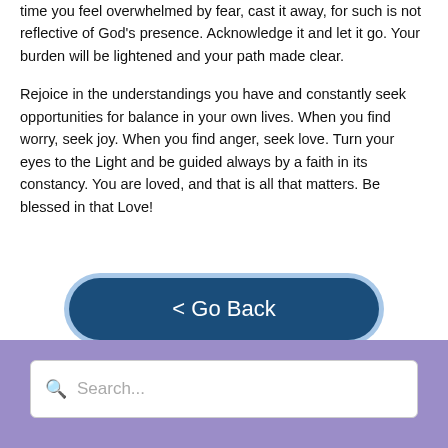time you feel overwhelmed by fear, cast it away, for such is not reflective of God's presence. Acknowledge it and let it go. Your burden will be lightened and your path made clear.

Rejoice in the understandings you have and constantly seek opportunities for balance in your own lives. When you find worry, seek joy. When you find anger, seek love. Turn your eyes to the Light and be guided always by a faith in its constancy. You are loved, and that is all that matters. Be blessed in that Love!
[Figure (other): Dark blue rounded button labeled '< Go Back' with light blue border/shadow outline]
[Figure (other): Purple/lavender rounded button labeled 'Read the Entire Message']
Share this with your friends:
[Figure (other): Purple background search area with white search input box containing magnifier icon and 'Search...' placeholder text]